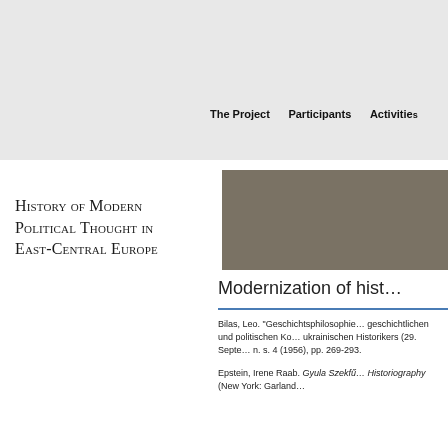The Project   Participants   Activities
History of Modern Political Thought in East-Central Europe
[Figure (photo): Gray/tan colored image block, partially visible, at top right of content area]
Modernization of hist…
Bilas, Leo. "Geschichtsphilosophie… geschichtlichen und politischen Ko… ukrainischen Historikers (29. Septe… n. s. 4 (1956), pp. 269-293.
Epstein, Irene Raab. Gyula Szekfű… Historiography (New York: Garland…